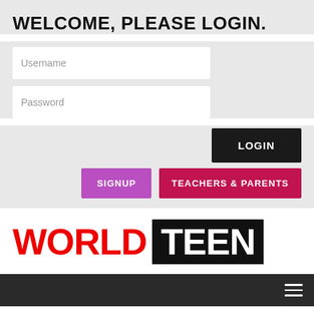WELCOME, PLEASE LOGIN.
[Figure (screenshot): Username input field, white background with placeholder text 'Username']
[Figure (screenshot): Password input field, white background with placeholder text 'Password']
LOGIN
SIGNUP
TEACHERS & PARENTS
[Figure (logo): WorldTeen logo - WORLD in red, TEEN in white on black background]
TRENDING NEWS → Lower Jordan River Dwindles Read more.